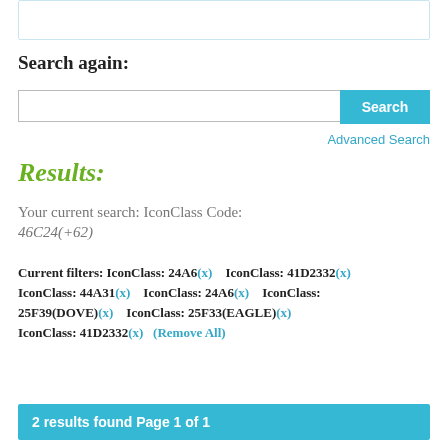[Figure (screenshot): Top portion of a search interface box, partially visible at the top of the page]
Search again:
[Figure (screenshot): Search input field with a blue Search button on the right]
Advanced Search
Results:
Your current search: IconClass Code:
46C24(+62)
Current filters: IconClass: 24A6(x)   IconClass: 41D2332(x)   IconClass: 44A31(x)   IconClass: 24A6(x)   IconClass: 25F39(DOVE)(x)   IconClass: 25F33(EAGLE)(x)   IconClass: 41D2332(x)   (Remove All)
2 results found Page 1 of 1